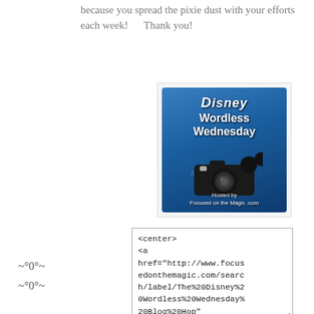because you spread the pixie dust with your efforts each week!      Thank you!
[Figure (illustration): Disney Wordless Wednesday blog badge with camera graphic, hosted by Focused on the Magic .com, on a blue background with Disney-style lettering]
<center>
<a
href="http://www.focusedonthemagic.com/search/label/The%20Disney%20Wordless%20Wednesday%20Blog%20Hop"
~°0°~
~°0°~